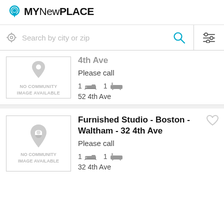[Figure (logo): MyNewPlace logo with location pin icon]
Search by city or zip
4th Ave
Please call
1 bed  1 bath
52 4th Ave
Furnished Studio - Boston - Waltham - 32 4th Ave
Please call
1 bed  1 bath
32 4th Ave